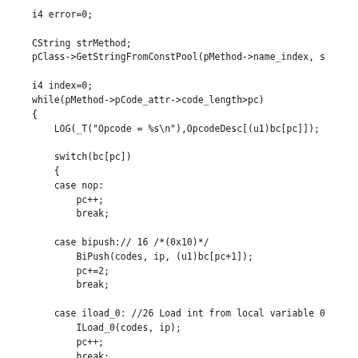i4 error=0;

CString strMethod;
pClass->GetStringFromConstPool(pMethod->name_index, s

i4 index=0;
while(pMethod->pCode_attr->code_length>pc)
{
    LOG(_T("Opcode = %s\n"),OpcodeDesc[(u1)bc[pc]]);

    switch(bc[pc])
    {
    case nop:
        pc++;
        break;

    case bipush:// 16 /*(0x10)*/
        BiPush(codes, ip, (u1)bc[pc+1]);
        pc+=2;
        break;

    case iload_0: //26 Load int from local variable 0
        ILoad_0(codes, ip);
        pc++;
        break;

    case iload_1: //27 Load int from local variable 1